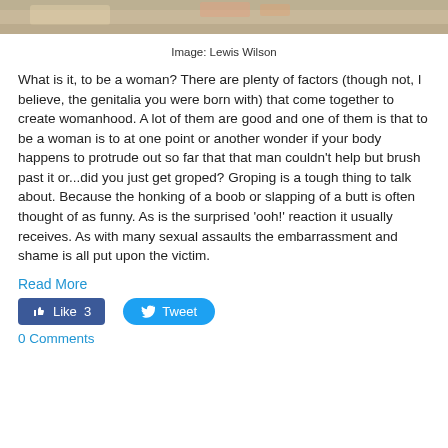[Figure (photo): Partial photo strip at top of page showing outdoor scene with graffiti/mural elements]
Image: Lewis Wilson
What is it, to be a woman? There are plenty of factors (though not, I believe, the genitalia you were born with) that come together to create womanhood. A lot of them are good and one of them is that to be a woman is to at one point or another wonder if your body happens to protrude out so far that that man couldn't help but brush past it or...did you just get groped? Groping is a tough thing to talk about. Because the honking of a boob or slapping of a butt is often thought of as funny. As is the surprised 'ooh!' reaction it usually receives. As with many sexual assaults the embarrassment and shame is all put upon the victim.
Read More
[Figure (other): Facebook Like button showing Like 3 and Twitter Tweet button]
0 Comments